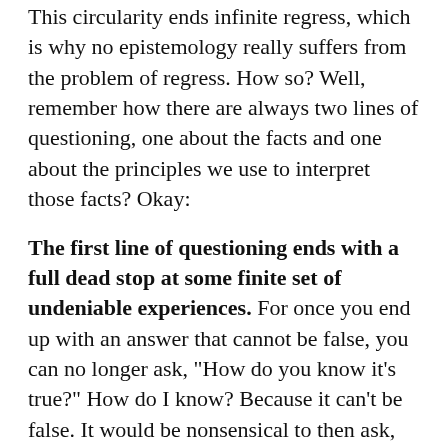This circularity ends infinite regress, which is why no epistemology really suffers from the problem of regress. How so? Well, remember how there are always two lines of questioning, one about the facts and one about the principles we use to interpret those facts? Okay:
The first line of questioning ends with a full dead stop at some finite set of undeniable experiences. For once you end up with an answer that cannot be false, you can no longer ask, "How do you know it's true?" How do I know? Because it can't be false. It would be nonsensical to then ask, "How do you know that?" For if I said it were false, then I would be saying "this experience exists right now and this experience does not exist right now," which is a meaningless sentence, because it asserts both it and its negation at the same time.